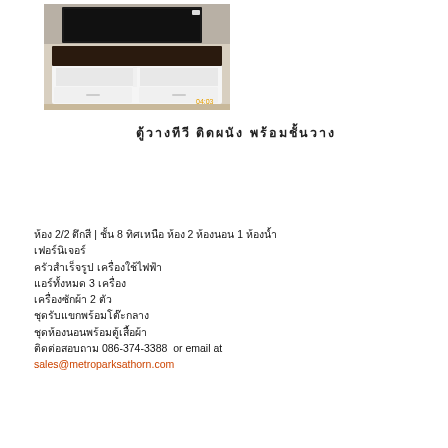[Figure (photo): Photo of a white and dark-brown TV cabinet/media unit with open shelves and closed door compartments, timestamped 04:03]
ตู้วางทีวี ติดผนัง พร้อมชั้นวาง
ห้อง 2/2 ตึกสี | ชั้น 8 ทิศเหนือ ห้อง 2 ห้องนอน 1 ห้องน้ำ
เฟอร์นิเจอร์ ครัวสำเร็จรูป เครื่องใช้ไฟฟ้า
แอร์ทั้งหมด 3 เครื่อง
เครื่องซักผ้า 2 ตัว
ชุดรับแขกพร้อมโต๊ะกลาง
ชุดห้องนอนพร้อมตู้เสื้อผ้า
ติดต่อสอบถาม 086-374-3388  or email at
sales@metroparksathorn.com